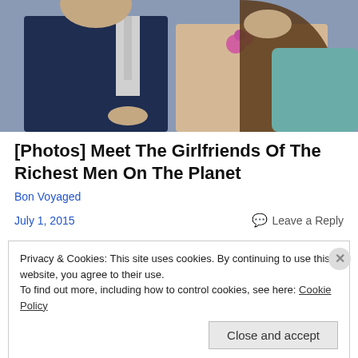[Figure (photo): A man in a navy blue suit and a woman in a lace top with a pink flower, sitting together]
[Photos] Meet The Girlfriends Of The Richest Men On The Planet
Bon Voyaged
July 1, 2015
Leave a Reply
Privacy & Cookies: This site uses cookies. By continuing to use this website, you agree to their use.
To find out more, including how to control cookies, see here: Cookie Policy
Close and accept